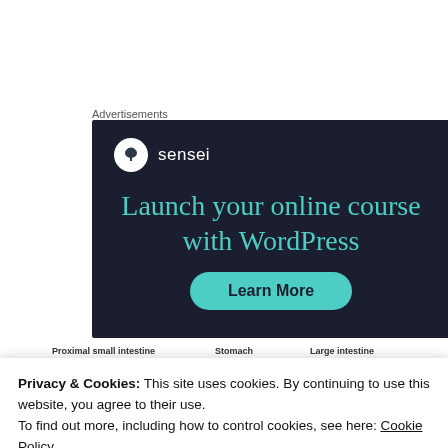Advertisements
[Figure (screenshot): Sensei advertisement banner with dark navy background, Sensei logo (tree icon in white circle), teal headline text 'Launch your online course with WordPress', and a teal 'Learn More' button]
[Figure (infographic): Partial view of a medical/biology diagram showing sections labeled 'Proximal small intestine', 'Stomach', and 'Large intestine' with colored information boxes and body illustration]
Privacy & Cookies: This site uses cookies. By continuing to use this website, you agree to their use.
To find out more, including how to control cookies, see here: Cookie Policy
Close and accept